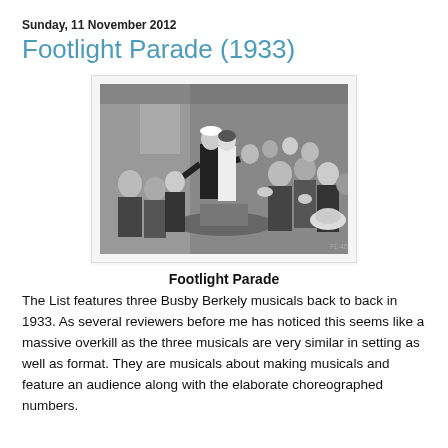Sunday, 11 November 2012
Footlight Parade (1933)
[Figure (photo): Black and white still from Footlight Parade (1933) showing two performers dancing on a table, one in a sailor outfit, surrounded by a crowd of onlookers who are clapping and cheering in what appears to be a bar or club setting.]
Footlight Parade
The List features three Busby Berkely musicals back to back in 1933. As several reviewers before me has noticed this seems like a massive overkill as the three musicals are very similar in setting as well as format. They are musicals about making musicals and feature an audience along with the elaborate choreographed numbers.